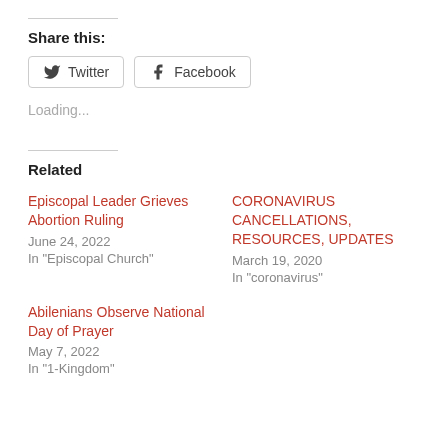Share this:
Twitter  Facebook
Loading...
Related
Episcopal Leader Grieves Abortion Ruling
June 24, 2022
In "Episcopal Church"
CORONAVIRUS CANCELLATIONS, RESOURCES, UPDATES
March 19, 2020
In "coronavirus"
Abilenians Observe National Day of Prayer
May 7, 2022
In "1-Kingdom"